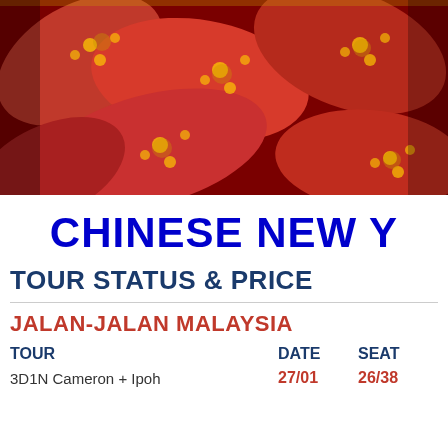[Figure (photo): Close-up photo of red Chinese New Year decorative items (red envelopes/hongbao) with gold floral patterns on a dark background.]
CHINESE NEW YEAR
TOUR STATUS & PRICE
JALAN-JALAN MALAYSIA
| TOUR | DATE | SEAT |
| --- | --- | --- |
| 3D1N Cameron + Ipoh | 27/01 | 26/38 |